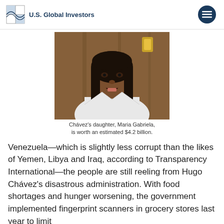U.S. Global Investors
[Figure (photo): Photo of Chávez's daughter, Maria Gabriela, a woman with dark hair wearing a white top, speaking or testifying, with a wooden background.]
Chávez's daughter, Maria Gabriela, is worth an estimated $4.2 billion.
Venezuela—which is slightly less corrupt than the likes of Yemen, Libya and Iraq, according to Transparency International—the people are still reeling from Hugo Chávez's disastrous administration. With food shortages and hunger worsening, the government implemented fingerprint scanners in grocery stores last year to limit